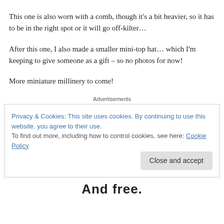This one is also worn with a comb, though it's a bit heavier, so it has to be in the right spot or it will go off-kilter…
After this one, I also made a smaller mini-top hat… which I'm keeping to give someone as a gift – so no photos for now!
More miniature millinery to come!
Advertisements
Privacy & Cookies: This site uses cookies. By continuing to use this website, you agree to their use.
To find out more, including how to control cookies, see here: Cookie Policy
Close and accept
And free.